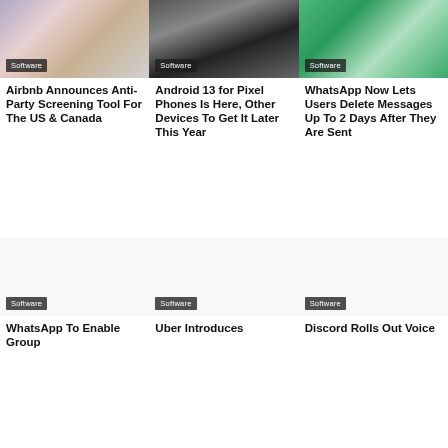[Figure (photo): Airbnb article thumbnail showing a robot vacuum on confetti-covered floor]
[Figure (photo): Android 13 article thumbnail showing a dark smartphone screen]
[Figure (photo): WhatsApp article thumbnail showing a group video call interface]
Software
Airbnb Announces Anti-Party Screening Tool For The US & Canada
Software
Android 13 for Pixel Phones Is Here, Other Devices To Get It Later This Year
Software
WhatsApp Now Lets Users Delete Messages Up To 2 Days After They Are Sent
[Figure (photo): WhatsApp Group article thumbnail (blank/loading)]
[Figure (photo): Uber Introduces article thumbnail (blank/loading)]
[Figure (photo): Discord Rolls Out article thumbnail (blank/loading)]
Software
WhatsApp To Enable Group
Software
Uber Introduces
Software
Discord Rolls Out Voice